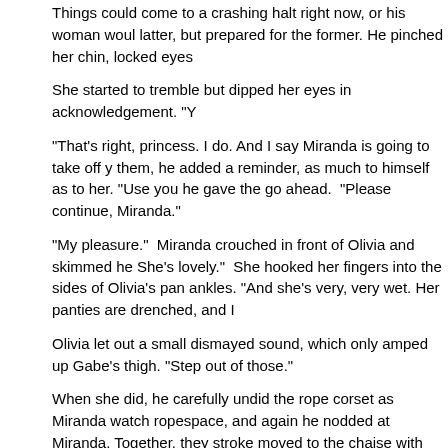latter, but prepared for the former. He pinched her chin, locked eyes
She started to tremble but dipped her eyes in acknowledgement. "Y
"That's right, princess. I do. And I say Miranda is going to take off y them, he added a reminder, as much to himself as to her. "Use you he gave the go ahead. "Please continue, Miranda."
"My pleasure." Miranda crouched in front of Olivia and skimmed he She's lovely." She hooked her fingers into the sides of Olivia's pan ankles. "And she's very, very wet. Her panties are drenched, and I
Olivia let out a small dismayed sound, which only amped up Gabe's thigh. "Step out of those."
When she did, he carefully undid the rope corset as Miranda watch ropespace, and again he nodded at Miranda. Together, they stroke moved to the chaise with her in his lap, all soft and pliant.
"Lucky guy," Miranda said softly, pulling a small foot stool close as t
"That I am," he replied. When Olivia started to stir, he slouched on t straddled his lap, her head on his shoulder, her nose buried agains play with Olivia's body, to see his lover come awake under the Dom laid one arm across Olivia's chest and started playing with her nipp her ass.